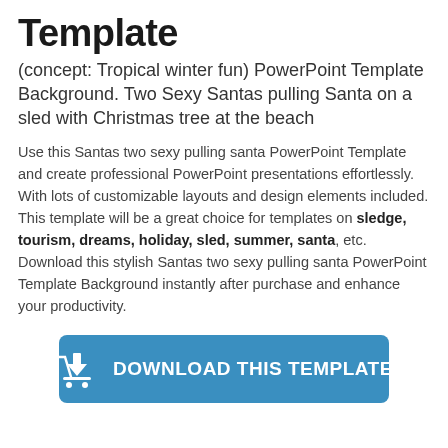Template
(concept: Tropical winter fun) PowerPoint Template Background. Two Sexy Santas pulling Santa on a sled with Christmas tree at the beach
Use this Santas two sexy pulling santa PowerPoint Template and create professional PowerPoint presentations effortlessly. With lots of customizable layouts and design elements included. This template will be a great choice for templates on sledge, tourism, dreams, holiday, sled, summer, santa, etc. Download this stylish Santas two sexy pulling santa PowerPoint Template Background instantly after purchase and enhance your productivity.
[Figure (other): Blue download button with shopping cart icon and text DOWNLOAD THIS TEMPLATE]